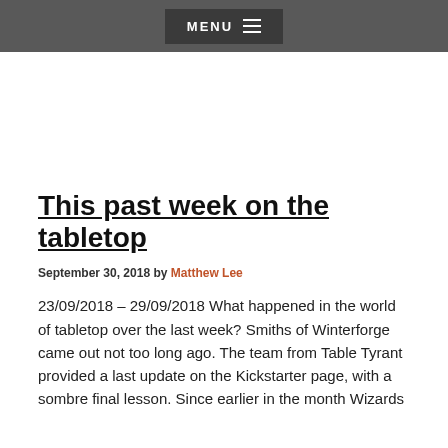MENU
This past week on the tabletop
September 30, 2018 by Matthew Lee
23/09/2018 – 29/09/2018 What happened in the world of tabletop over the last week? Smiths of Winterforge came out not too long ago. The team from Table Tyrant provided a last update on the Kickstarter page, with a sombre final lesson. Since earlier in the month Wizards